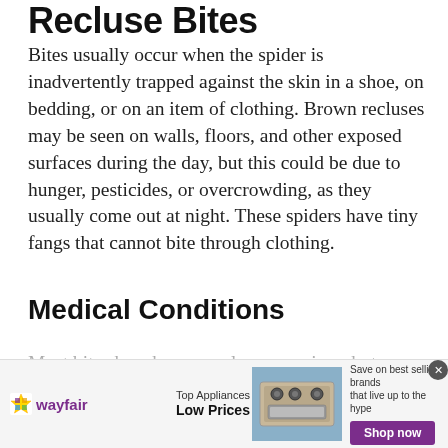Recluse Bites
Bites usually occur when the spider is inadvertently trapped against the skin in a shoe, on bedding, or on an item of clothing. Brown recluses may be seen on walls, floors, and other exposed surfaces during the day, but this could be due to hunger, pesticides, or overcrowding, as they usually come out at night. These spiders have tiny fangs that cannot bite through clothing.
Medical Conditions
Most bites by a brown recluse are minor, but
[Figure (other): Wayfair advertisement banner showing logo, Top Appliances Low Prices text, stove image, and Shop now button]